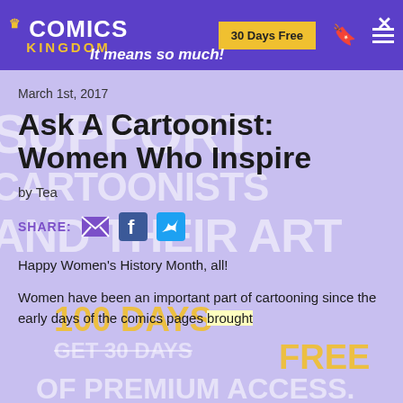COMICS KINGDOM — 30 Days Free — It means so much!
March 1st, 2017
Ask A Cartoonist: Women Who Inspire
by Tea
SHARE:
Happy Women's History Month, all!
Women have been an important part of cartooning since the early days of the comics pages brought